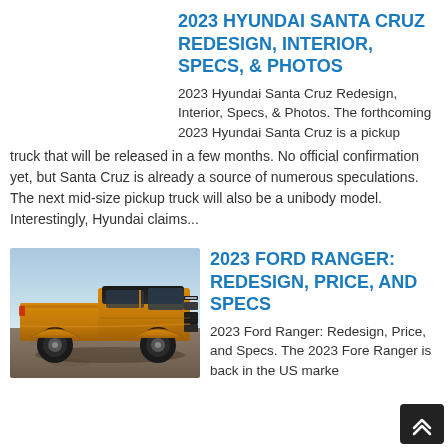2023 HYUNDAI SANTA CRUZ REDESIGN, INTERIOR, SPECS, & PHOTOS
2023 Hyundai Santa Cruz Redesign, Interior, Specs, & Photos. The forthcoming 2023 Hyundai Santa Cruz is a pickup truck that will be released in a few months. No official confirmation yet, but Santa Cruz is already a source of numerous speculations. The next mid-size pickup truck will also be a unibody model. Interestingly, Hyundai claims...
[Figure (photo): Photo of the 2023 Ford Ranger pickup truck in gold/orange color on gravel terrain]
2023 FORD RANGER: REDESIGN, PRICE, AND SPECS
2023 Ford Ranger: Redesign, Price, and Specs. The 2023 Ford Ranger is back in the US market after a long time and better...